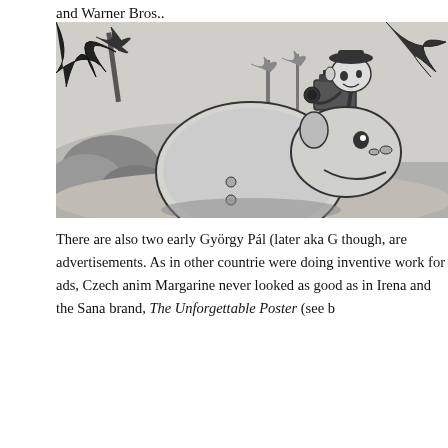and Warner Bros..
[Figure (illustration): Black and white cartoon illustration showing an animated character (resembling a caricature filmmaker/director) operating a film camera on a tripod, with a large hippo-like creature beside him. Tropical background with palm trees, water, and rocks.]
There are also two early György Pál (later aka G though, are advertisements. As in other countrie were doing inventive work for ads, Czech anim Margarine never looked as good as in Irena and the Sana brand, The Unforgettable Poster (see b